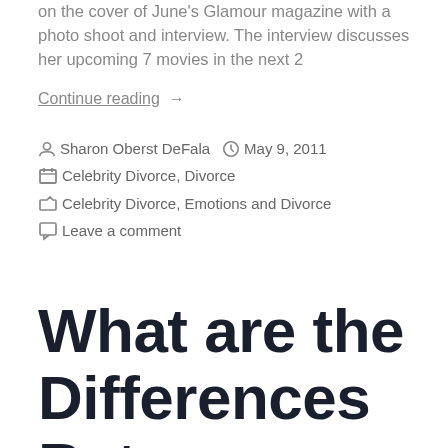on the cover of June's Glamour magazine with a photo shoot and interview. The interview discusses her upcoming 7 movies in the next 2
Continue reading  →
By Sharon Oberst DeFala   May 9, 2011   Celebrity Divorce, Divorce   Celebrity Divorce, Emotions and Divorce   Leave a comment
What are the Differences Between LeAnn